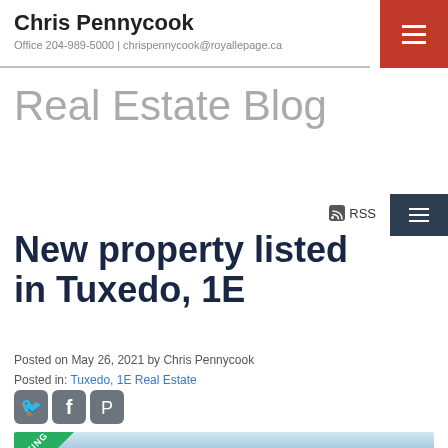Chris Pennycook
Office 204-989-5000 | chrispennycook@royallepage.ca
Real Estate Blog
New property listed in Tuxedo, 1E
Posted on May 26, 2021 by Chris Pennycook
Posted in: Tuxedo, 1E Real Estate
[Figure (photo): Property listing photo showing trees and sky with a green NEW LISTING corner badge]